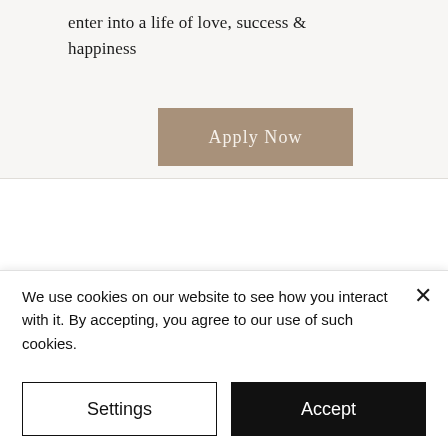enter into a life of love, success & happiness
[Figure (other): Apply Now button — a rectangular tan/taupe colored button with the text 'Apply Now' in cream serif font]
[Figure (other): Partial screenshot of a mobile phone mockup on a light grey background]
We use cookies on our website to see how you interact with it. By accepting, you agree to our use of such cookies.
Settings
Accept